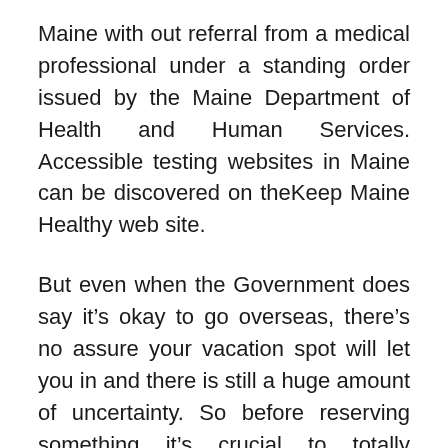Maine with out referral from a medical professional under a standing order issued by the Maine Department of Health and Human Services. Accessible testing websites in Maine can be discovered on theKeep Maine Healthy web site.
But even when the Government does say it’s okay to go overseas, there’s no assure your vacation spot will let you in and there is still a huge amount of uncertainty. So before reserving something it’s crucial to totally understand the monetary danger. Last year, when overseas travel restarted and was